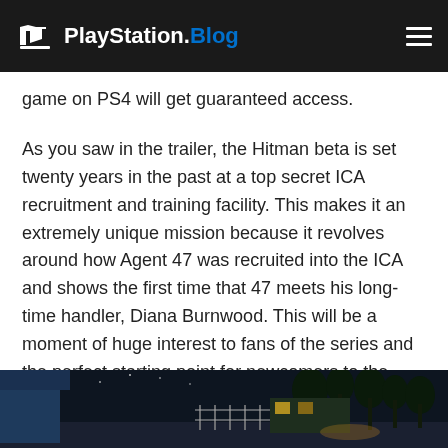PlayStation.Blog
game on PS4 will get guaranteed access.
As you saw in the trailer, the Hitman beta is set twenty years in the past at a top secret ICA recruitment and training facility. This makes it an extremely unique mission because it revolves around how Agent 47 was recruited into the ICA and shows the first time that 47 meets his long-time handler, Diana Burnwood. This will be a moment of huge interest to fans of the series and the perfect starting point for newcomers to the game.
[Figure (photo): Night-time exterior scene with trees, a lit building facade, and a fence visible in a dark environment]